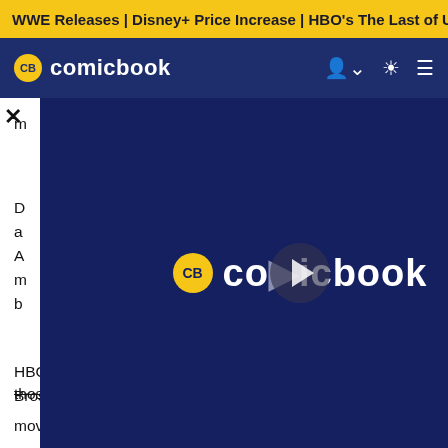WWE Releases | Disney+ Price Increase | HBO's The Last of U
CB comicbook
[Figure (screenshot): ComicBook.com video player overlay showing the CB comicbook logo on a dark navy background with a play button]
those two events will be the Season Finale of Loki.
HBO Max continues its day-and-date rollout of Warner Bros. movies in July with perhaps one of the most anticipated